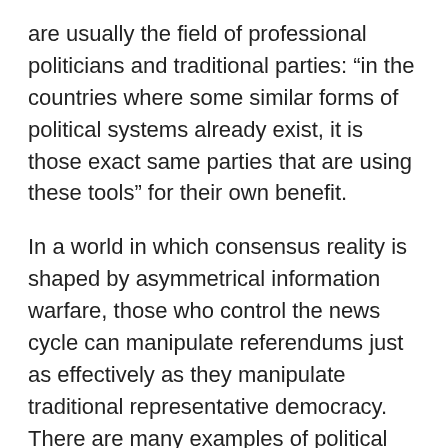are usually the field of professional politicians and traditional parties: “in the countries where some similar forms of political systems already exist, it is those exact same parties that are using these tools” for their own benefit.
In a world in which consensus reality is shaped by asymmetrical information warfare, those who control the news cycle can manipulate referendums just as effectively as they manipulate traditional representative democracy. There are many examples of political parties using popular referendums to advance their agendas. In 2009, the Swiss far-right party (UDC) led a several-month political campaign against the construction of new minarets in Switzerland. This racist political campaign was simply an excuse to target Muslims